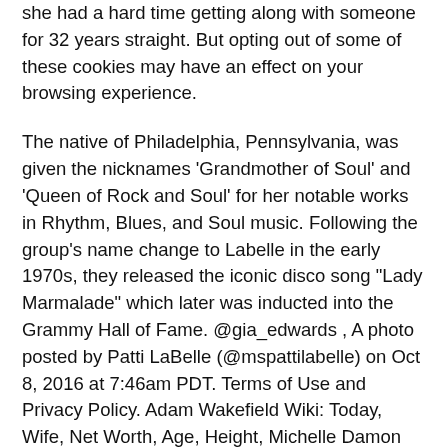she had a hard time getting along with someone for 32 years straight. But opting out of some of these cookies may have an effect on your browsing experience.
The native of Philadelphia, Pennsylvania, was given the nicknames 'Grandmother of Soul' and 'Queen of Rock and Soul' for her notable works in Rhythm, Blues, and Soul music. Following the group's name change to Labelle in the early 1970s, they released the iconic disco song "Lady Marmalade" which later was inducted into the Grammy Hall of Fame. @gia_edwards , A photo posted by Patti LaBelle (@mspattilabelle) on Oct 8, 2016 at 7:46am PDT. Terms of Use and Privacy Policy. Adam Wakefield Wiki: Today, Wife, Net Worth, Age, Height, Michelle Damon Wiki: Net Worth, Age, Parents, Nationality, Leanne Best Husband, Boyfriend, Height, Net Worth, Sasha Cobra Wiki: Age, Husband, Nationality, Real Name, Katie Cherry [Musician] Wiki, Bio, Age, Dating, Meredith Marks Wiki: Husband, Net Worth, Height, Parents, Kids, RHOSLC. 2003. If you are 13 years old when were you born?
Know how Patti mastered her personal life, with a legacy of a super icon in hands! Her songs ''New Attitude'' and ''Stir It Up'' energized the Beverly Hills Cop soundtrack in 1984. Siblings: